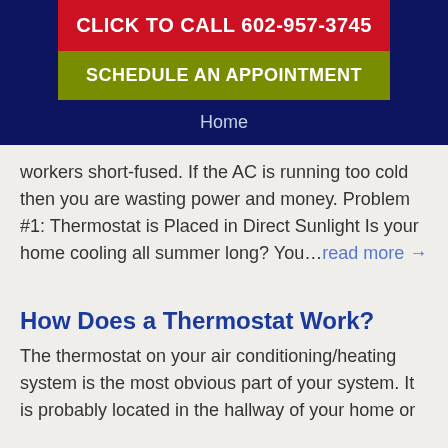CLICK TO CALL 602-957-3745
SCHEDULE AN APPOINTMENT
Home
workers short-fused. If the AC is running too cold then you are wasting power and money. Problem #1: Thermostat is Placed in Direct Sunlight Is your home cooling all summer long? You…read more →
How Does a Thermostat Work?
The thermostat on your air conditioning/heating system is the most obvious part of your system. It is probably located in the hallway of your home or